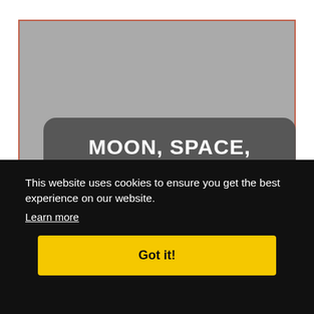[Figure (screenshot): Gray placeholder image area with an orange-red border, partially obscured by a dark rounded overlay with white text reading 'MOON, SPACE, STARS, OUTER SPACE, ASTRONOMY WALLPAPERS HD' and a cookie consent banner.]
MOON, SPACE, STARS, OUTER SPACE, ASTRONOMY WALLPAPERS HD
This website uses cookies to ensure you get the best experience on our website.
Learn more
Got it!